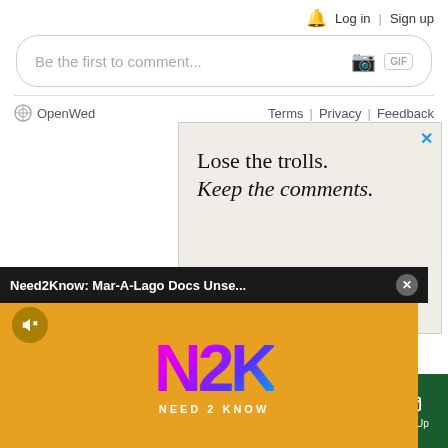Log in | Sign up
Be the first to comment...
OpenWeb   Terms | Privacy | Feedback
[Figure (screenshot): Advertisement with text 'Lose the trolls. Keep the comments.' on a light beige background with a blue close button]
Need2Know: Mar-A-Lago Docs Unse...
[Figure (screenshot): N2K (Need 2 Know) video panel with colorful 3D letters N2K on orange/yellow background with mute button and 'NEED 2 KNOW' subtitle]
Sections | NY Edition | Philly | Games | Advertise | Sign Up